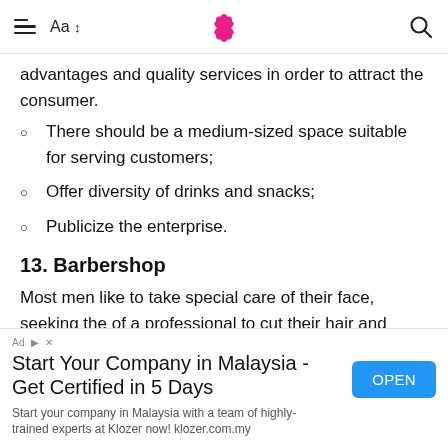Aa ↕  [lotus logo]  🔍
advantages and quality services in order to attract the consumer.
There should be a medium-sized space suitable for serving customers;
Offer diversity of drinks and snacks;
Publicize the enterprise.
13. Barbershop
Most men like to take special care of their face, seeking the of a professional to cut their hair and shave. When
Start Your Company in Malaysia - Get Certified in 5 Days
Start your company in Malaysia with a team of highly-trained experts at Klozer now! klozer.com.my